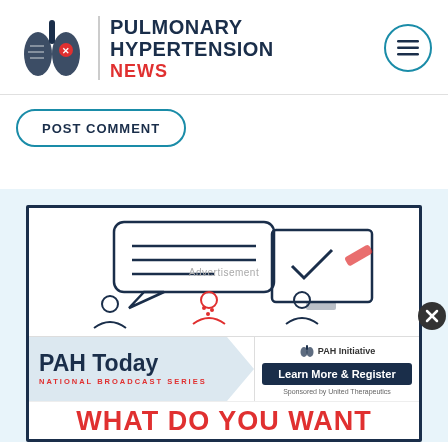[Figure (logo): Pulmonary Hypertension News logo with lungs icon, vertical divider, and text]
POST COMMENT
[Figure (infographic): PAH Today National Broadcast Series advertisement with illustration of people discussing, PAH Initiative branding, Learn More & Register button, Sponsored by United Therapeutics, and WHAT DO YOU WANT headline in red]